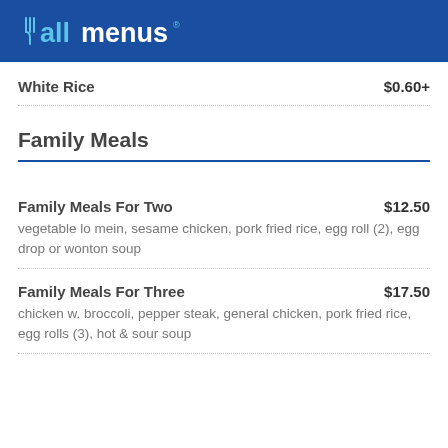allmenus
White Rice    $0.60+
Family Meals
Family Meals For Two    $12.50
vegetable lo mein, sesame chicken, pork fried rice, egg roll (2), egg drop or wonton soup
Family Meals For Three    $17.50
chicken w. broccoli, pepper steak, general chicken, pork fried rice, egg rolls (3), hot & sour soup